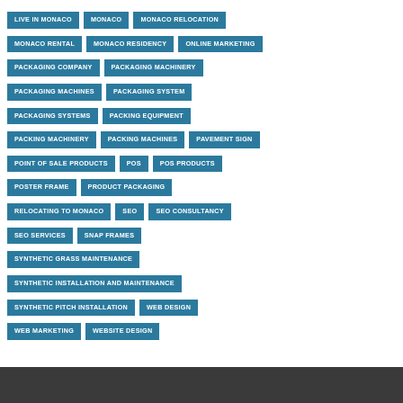LIVE IN MONACO
MONACO
MONACO RELOCATION
MONACO RENTAL
MONACO RESIDENCY
ONLINE MARKETING
PACKAGING COMPANY
PACKAGING MACHINERY
PACKAGING MACHINES
PACKAGING SYSTEM
PACKAGING SYSTEMS
PACKING EQUIPMENT
PACKING MACHINERY
PACKING MACHINES
PAVEMENT SIGN
POINT OF SALE PRODUCTS
POS
POS PRODUCTS
POSTER FRAME
PRODUCT PACKAGING
RELOCATING TO MONACO
SEO
SEO CONSULTANCY
SEO SERVICES
SNAP FRAMES
SYNTHETIC GRASS MAINTENANCE
SYNTHETIC INSTALLATION AND MAINTENANCE
SYNTHETIC PITCH INSTALLATION
WEB DESIGN
WEB MARKETING
WEBSITE DESIGN